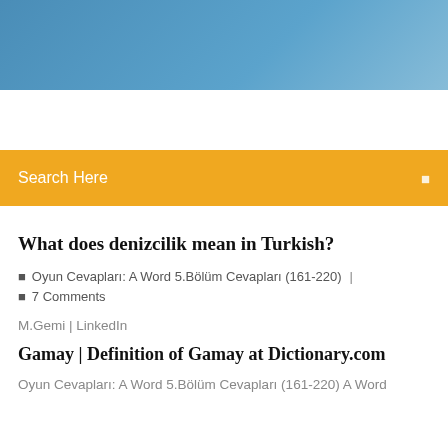[Figure (photo): Blue sky/gradient header banner at top of webpage]
Search Here
What does denizcilik mean in Turkish?
Oyun Cevapları: A Word 5.Bölüm Cevapları (161-220)  |  7 Comments
M.Gemi | LinkedIn
Gamay | Definition of Gamay at Dictionary.com
Oyun Cevapları: A Word 5.Bölüm Cevapları (161-220) A Word